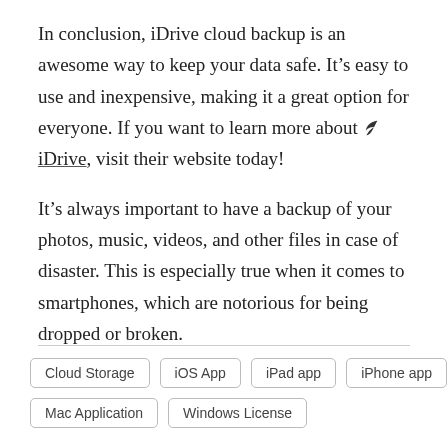In conclusion, iDrive cloud backup is an awesome way to keep your data safe. It's easy to use and inexpensive, making it a great option for everyone. If you want to learn more about 🍃 iDrive, visit their website today!
It's always important to have a backup of your photos, music, videos, and other files in case of disaster. This is especially true when it comes to smartphones, which are notorious for being dropped or broken.
Cloud Storage
iOS App
iPad app
iPhone app
Mac Application
Windows License